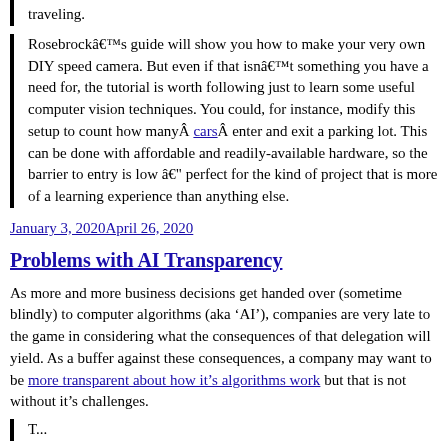traveling.
Rosebrockâs guide will show you how to make your very own DIY speed camera. But even if that isnât something you have a need for, the tutorial is worth following just to learn some useful computer vision techniques. You could, for instance, modify this setup to count how manyÂ carsÂ enter and exit a parking lot. This can be done with affordable and readily-available hardware, so the barrier to entry is low â perfect for the kind of project that is more of a learning experience than anything else.
January 3, 2020April 26, 2020
Problems with AI Transparency
As more and more business decisions get handed over (sometime blindly) to computer algorithms (aka ‘AI’), companies are very late to the game in considering what the consequences of that delegation will yield. As a buffer against these consequences, a company may want to be more transparent about how it’s algorithms work but that is not without it’s challenges.
To...